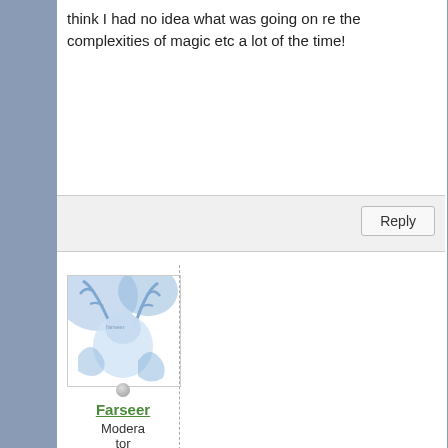think I had no idea what was going on re the complexities of magic etc a lot of the time!
Reply
[Figure (illustration): User avatar image showing a blue and white artistic illustration of a deer/stag with antlers in a watercolor style, with faint text 'farseer' visible]
Farseer
Moderator
2,650
Posts: